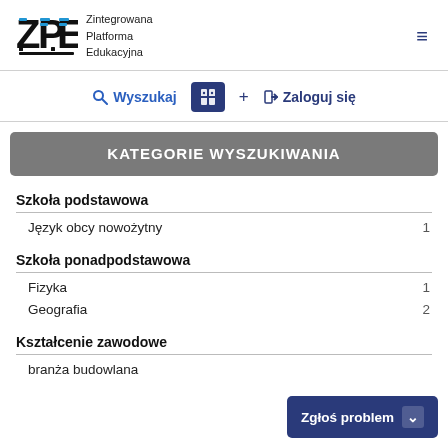ZPE – Zintegrowana Platforma Edukacyjna
KATEGORIE WYSZUKIWANIA
Szkoła podstawowa
Język obcy nowożytny   1
Szkoła ponadpodstawowa
Fizyka   1
Geografia   2
Kształcenie zawodowe
branża budowlana